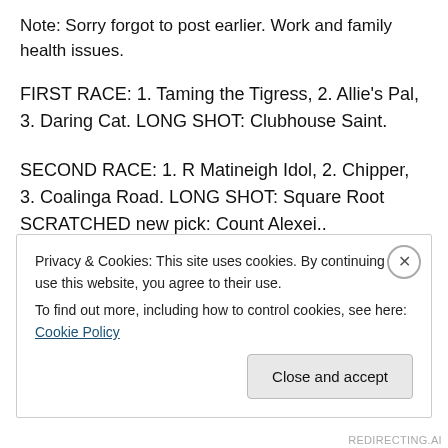Note: Sorry forgot to post earlier. Work and family health issues.
FIRST RACE: 1. Taming the Tigress, 2. Allie’s Pal, 3. Daring Cat. LONG SHOT: Clubhouse Saint.
SECOND RACE: 1. R Matineigh Idol, 2. Chipper, 3. Coalinga Road. LONG SHOT: Square Root SCRATCHED new pick: Count Alexei..
THIRD RACE: 1. Tiz Toffee, 2. Easy Grader, 3. Flying
Privacy & Cookies: This site uses cookies. By continuing to use this website, you agree to their use.
To find out more, including how to control cookies, see here: Cookie Policy
Close and accept